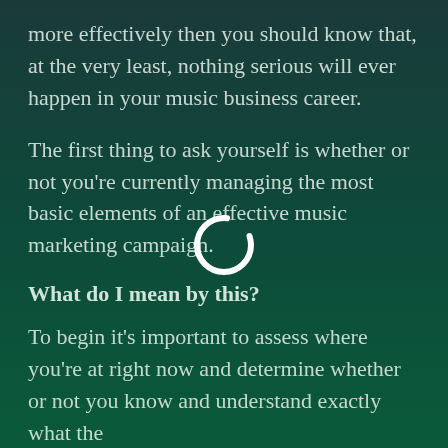more effectively then you should know that, at the very least, nothing serious will ever happen in your music business career.
The first thing to ask yourself is whether or not you’re currently managing the most basic elements of an effective music marketing campaign.
[Figure (other): Loading spinner icon (circular arc in white) overlaid on the text content]
What do I mean by this?
To begin it’s important to assess where you’re at right now and determine whether or not you know and understand exactly what the